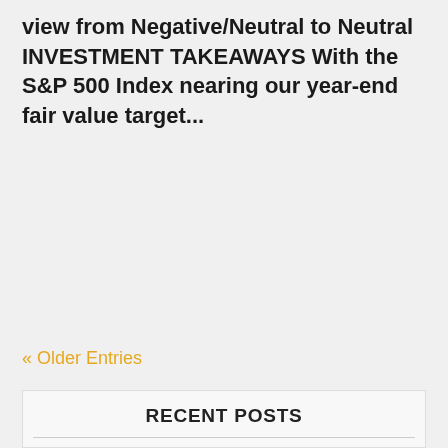view from Negative/Neutral to Neutral INVESTMENT TAKEAWAYS With the S&P 500 Index nearing our year-end fair value target...
« Older Entries
RECENT POSTS
Where Will Housing Go From Here? | Weekly Market Commentary | August 22, 2022
Start of a New Bull Market? | Weekly Market Commentary | August ...